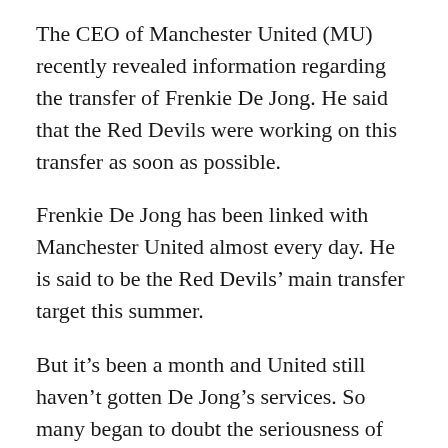The CEO of Manchester United (MU) recently revealed information regarding the transfer of Frenkie De Jong. He said that the Red Devils were working on this transfer as soon as possible.
Frenkie De Jong has been linked with Manchester United almost every day. He is said to be the Red Devils’ main transfer target this summer.
But it’s been a month and United still haven’t gotten De Jong’s services. So many began to doubt the seriousness of MU to get the services of the midfielder.
Richard Arnold recently met with representatives of United fans. Joe Football claims that the CEO confirmed he is working on this transfer.
At the meeting, representatives of MU fans asked